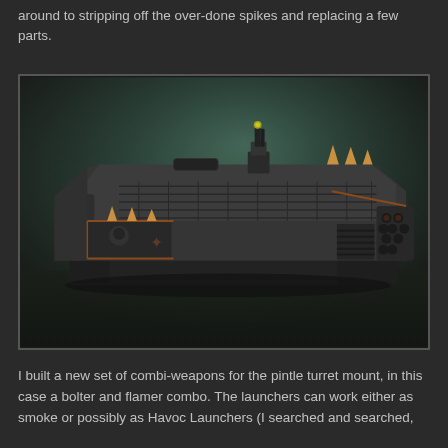around to stripping off the over-done spikes and replacing a few parts.
[Figure (photo): A painted Warhammer 40K Chaos Space Marines rhino/transport vehicle miniature, heavily converted with additional weapons, spikes, and decorative details. The model is painted in dark metallic tones with rust and orange accents against a dark greenish atmospheric background.]
I built a new set of combi-weapons for the pintle turret mount, in this case a bolter and flamer combo. The launchers can work either as smoke or possibly as Havoc Launchers (I searched and searched,